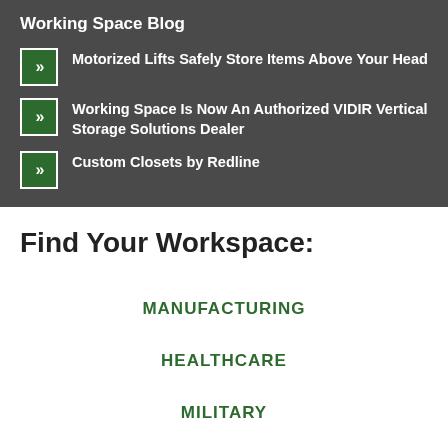Working Space Blog
Motorized Lifts Safely Store Items Above Your Head
Working Space Is Now An Authorized VIDIR Vertical Storage Solutions Dealer
Custom Closets by Redline
Find Your Workspace:
MANUFACTURING
HEALTHCARE
MILITARY